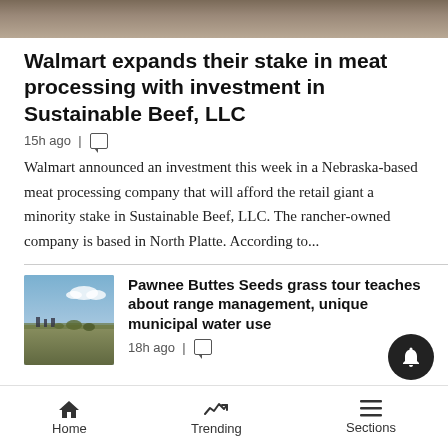[Figure (photo): Top portion of a rocky/stone surface photograph, partially cropped]
Walmart expands their stake in meat processing with investment in Sustainable Beef, LLC
15h ago |
Walmart announced an investment this week in a Nebraska-based meat processing company that will afford the retail giant a minority stake in Sustainable Beef, LLC. The rancher-owned company is based in North Platte. According to...
[Figure (photo): Thumbnail photo of people walking through grassland/prairie landscape]
Pawnee Buttes Seeds grass tour teaches about range management, unique municipal water use
18h ago |
Home   Trending   Sections